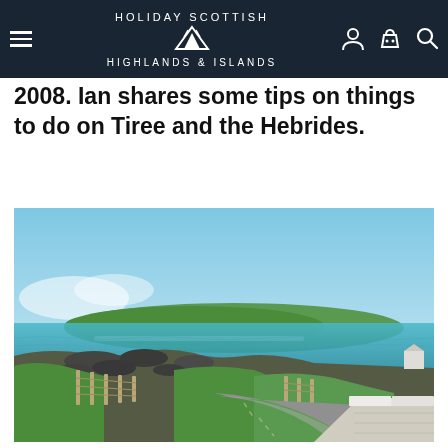HOLIDAY SCOTTISH HIGHLANDS & ISLANDS
2008. Ian shares some tips on things to do on Tiree and the Hebrides.
[Figure (photo): Scenic coastal road photograph showing a narrow tarmac lane lined with wooden fence posts, green grass verge, rocky shoreline with turquoise sea and a low green island in the distance under a clear blue sky. A white rendered stone wall/gatepost is visible in the foreground right.]